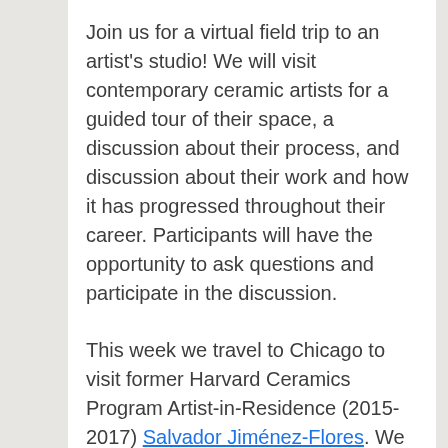Join us for a virtual field trip to an artist's studio! We will visit contemporary ceramic artists for a guided tour of their space, a discussion about their process, and discussion about their work and how it has progressed throughout their career. Participants will have the opportunity to ask questions and participate in the discussion.
This week we travel to Chicago to visit former Harvard Ceramics Program Artist-in-Residence (2015-2017) Salvador Jiménez-Flores. We